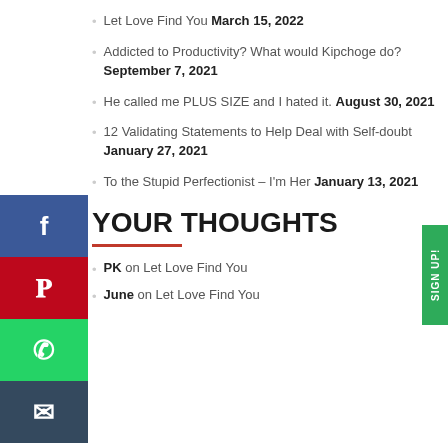Let Love Find You March 15, 2022
Addicted to Productivity? What would Kipchoge do? September 7, 2021
He called me PLUS SIZE and I hated it. August 30, 2021
12 Validating Statements to Help Deal with Self-doubt January 27, 2021
To the Stupid Perfectionist – I'm Her January 13, 2021
YOUR THOUGHTS
PK on Let Love Find You
June on Let Love Find You